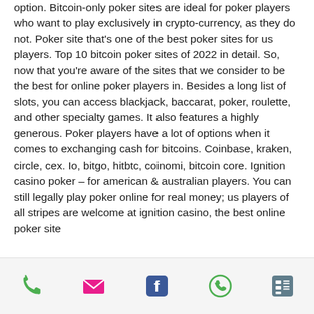option. Bitcoin-only poker sites are ideal for poker players who want to play exclusively in crypto-currency, as they do not. Poker site that's one of the best poker sites for us players. Top 10 bitcoin poker sites of 2022 in detail. So, now that you're aware of the sites that we consider to be the best for online poker players in. Besides a long list of slots, you can access blackjack, baccarat, poker, roulette, and other specialty games. It also features a highly generous. Poker players have a lot of options when it comes to exchanging cash for bitcoins. Coinbase, kraken, circle, cex. Io, bitgo, hitbtc, coinomi, bitcoin core. Ignition casino poker – for american &amp; australian players. You can still legally play poker online for real money; us players of all stripes are welcome at ignition casino, the best online poker site
Navigation bar with phone, email, facebook, whatsapp, and menu icons